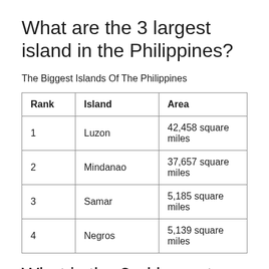What are the 3 largest island in the Philippines?
The Biggest Islands Of The Philippines
| Rank | Island | Area |
| --- | --- | --- |
| 1 | Luzon | 42,458 square miles |
| 2 | Mindanao | 37,657 square miles |
| 3 | Samar | 5,185 square miles |
| 4 | Negros | 5,139 square miles |
What is the 2nd largest island in the Philippines?